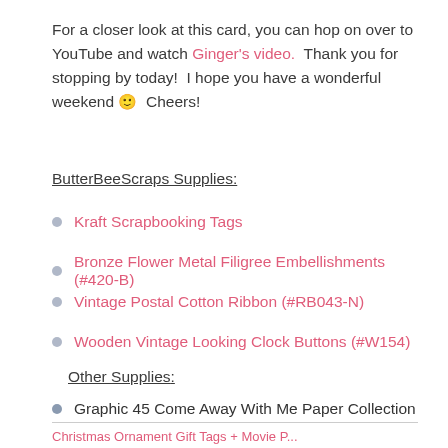For a closer look at this card, you can hop on over to YouTube and watch Ginger's video.  Thank you for stopping by today!  I hope you have a wonderful weekend 🙂  Cheers!
ButterBeeScraps Supplies:
Kraft Scrapbooking Tags
Bronze Flower Metal Filigree Embellishments (#420-B)
Vintage Postal Cotton Ribbon (#RB043-N)
Wooden Vintage Looking Clock Buttons (#W154)
Other Supplies:
Graphic 45 Come Away With Me Paper Collection
Christmas Ornament Gift Tags + Movie P...